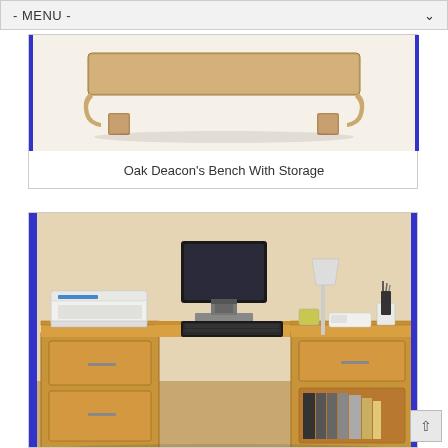- MENU -
[Figure (photo): Oak Deacon's Bench with storage - wooden bench with lift-up storage lid, light oak finish, photographed against white background]
Oak Deacon's Bench With Storage
[Figure (photo): Oak corner desk home office setup with computer monitor, keyboard, printer on left pedestal, filing drawers, bookcase storage on right side, warm oak wood finish]